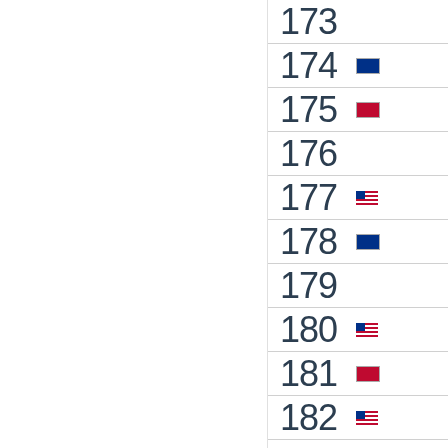| Number | Flag |
| --- | --- |
| 173 |  |
| 174 | flag |
| 175 | flag |
| 176 |  |
| 177 | flag |
| 178 | flag |
| 179 |  |
| 180 | flag |
| 181 | flag |
| 182 | flag |